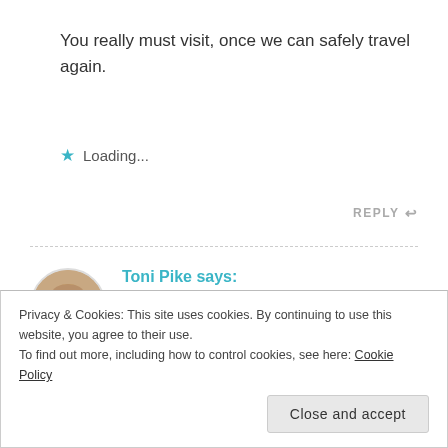You really must visit, once we can safely travel again.
Loading...
REPLY
Toni Pike says: SEPTEMBER 14, 2020 AT 8:47 AM
I loved learning about Darlene's day and what a
Privacy & Cookies: This site uses cookies. By continuing to use this website, you agree to their use.
To find out more, including how to control cookies, see here: Cookie Policy
Close and accept